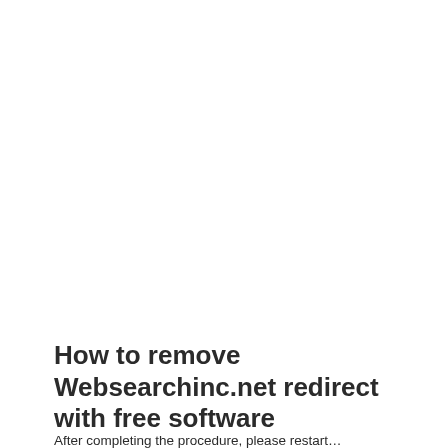How to remove Websearchinc.net redirect with free software
After completing the procedure, please restart…